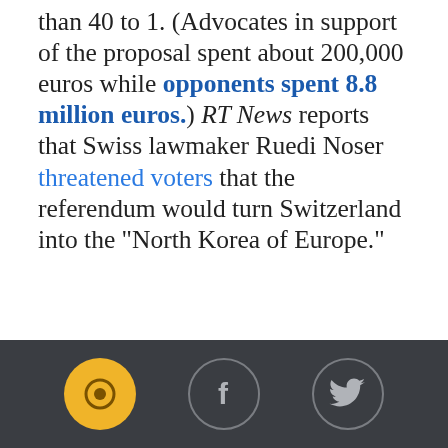than 40 to 1. (Advocates in support of the proposal spent about 200,000 euros while opponents spent 8.8 million euros.) RT News reports that Swiss lawmaker Ruedi Noser threatened voters that the referendum would turn Switzerland into the “North Korea of Europe.”
CATEGORIES: Economy | Progressive Priorities | Tax Fairness
[Figure (other): Footer bar with three social media icons: a yellow circle with a logo, a circle with Facebook 'f' icon, and a circle with Twitter bird icon, on a dark gray background.]